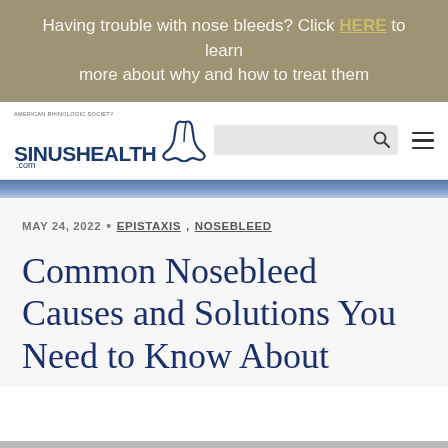Having trouble with nose bleeds? Click HERE to learn more about why and how to treat them
[Figure (logo): SinusHealth.com logo with American Rhinologic Society text and nose illustration, search bar, and hamburger menu]
MAY 24, 2022 • EPISTAXIS , NOSEBLEED
Common Nosebleed Causes and Solutions You Need to Know About